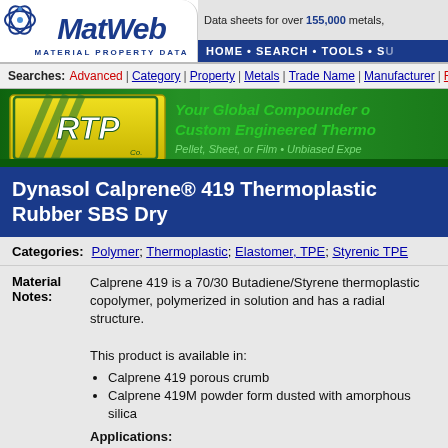MatWeb - MATERIAL PROPERTY DATA | Data sheets for over 155,000 metals, | HOME • SEARCH • TOOLS • ...
Searches: Advanced | Category | Property | Metals | Trade Name | Manufacturer | Recent...
[Figure (advertisement): RTP Co. banner ad: Your Global Compounder of Custom Engineered Thermo... Pellet, Sheet, or Film • Unbiased Expe...]
Dynasol Calprene® 419 Thermoplastic Rubber SBS Dry
Categories: Polymer; Thermoplastic; Elastomer, TPE; Styrenic TPE
Material Notes: Calprene 419 is a 70/30 Butadiene/Styrene thermoplastic copolymer, polymerized in solution and has a radial structure.

This product is available in:
• Calprene 419 porous crumb
• Calprene 419M powder form dusted with amorphous silica

Applications: